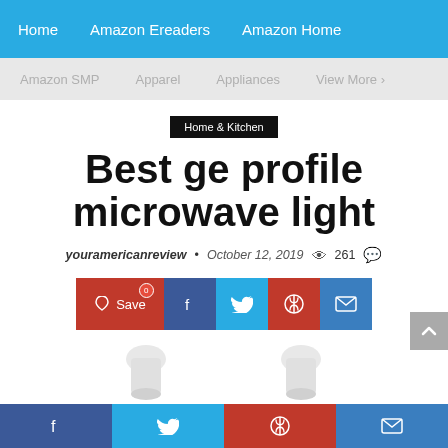Home  Amazon Ereaders  Amazon Home
Amazon SMP  Apparel  Appliances  View More
Home & Kitchen
Best ge profile microwave light
youramericanreview • October 12, 2019  261
[Figure (other): Social share buttons: Save, Facebook, Twitter, Pinterest, Email]
[Figure (photo): Product images partially visible at the bottom of the page]
Facebook  Twitter  Pinterest  Email social share footer bar